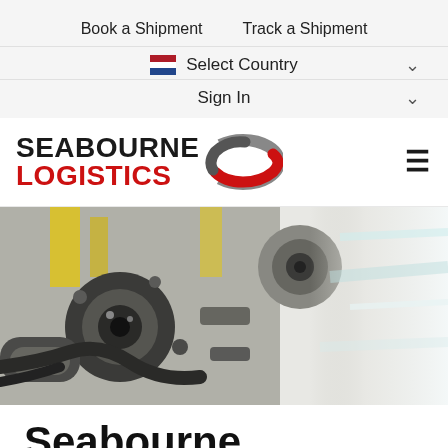Book a Shipment   Track a Shipment
Select Country
Sign In
[Figure (logo): Seabourne Logistics logo with grey and red swoosh graphic]
[Figure (photo): Close-up industrial machinery with conveyor belts and rollers, motion blur on right side]
Seabourne Mail Solutions